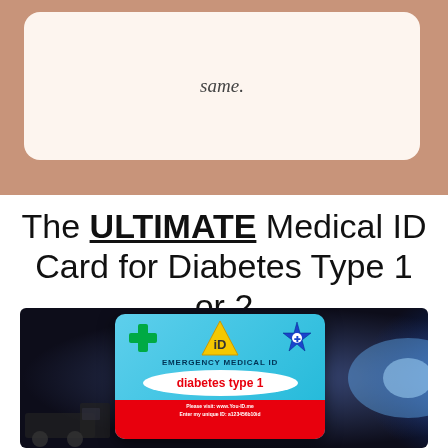[Figure (photo): Top section showing a white rounded card with the word 'same.' on a rose/copper colored background]
same.
The ULTIMATE Medical ID Card for Diabetes Type 1 or 2
[Figure (photo): Photo showing an Emergency Medical ID card for diabetes type 1, with green cross, yellow iD triangle, and blue star of life icons, on a dark dramatic background with ambulance and blue emergency lights. Card reads: EMERGENCY MEDICAL ID, diabetes type 1, Please visit: www.You-ID.me, Enter my unique ID: a123456b10id]